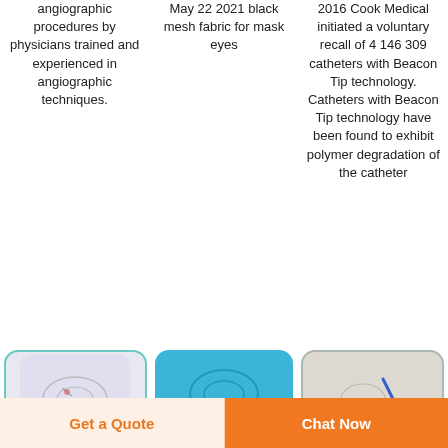angiographic procedures by physicians trained and experienced in angiographic techniques.
May 22 2021 black mesh fabric for mask eyes
2016 Cook Medical initiated a voluntary recall of 4 146 309 catheters with Beacon Tip technology. Catheters with Beacon Tip technology have been found to exhibit polymer degradation of the catheter
[Figure (photo): Medical device card with teal/green border on light purple background]
[Figure (photo): Medical device card on blue background]
[Figure (photo): Medical device card on light beige/grey background with blue pen/marker]
Get a Quote
Chat Now